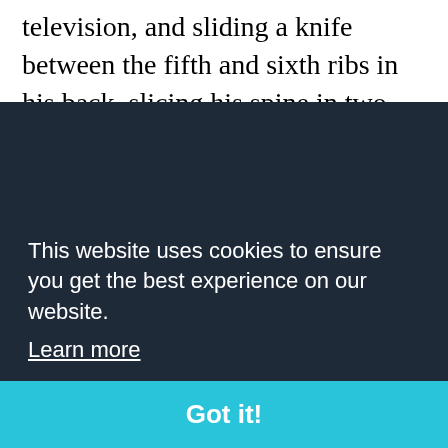television, and sliding a knife between the fifth and sixth ribs in his back, slicing his spine in two and piercing his liver. Yet even as the dreams got steadily more violent and vivid, I was slowly beginning to figure out how to fool the psychiatrists. I began to realize what quacks these state-paid listeners were. Before long, I was free of them.
After that, it wasn't so bad. Like a man with chronic arthritis, I just learned to get on with it, get on with whatever I was doing. There was always an awareness of [partially obscured] f my [partially obscured] ing [partially obscured] ense [partially obscured] told
This website uses cookies to ensure you get the best experience on our website.
Learn more
Got it!